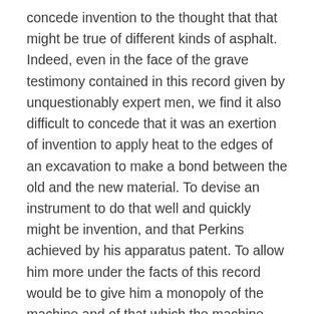concede invention to the thought that that might be true of different kinds of asphalt. Indeed, even in the face of the grave testimony contained in this record given by unquestionably expert men, we find it also difficult to concede that it was an exertion of invention to apply heat to the edges of an excavation to make a bond between the old and the new material. To devise an instrument to do that well and quickly might be invention, and that Perkins achieved by his apparatus patent. To allow him more under the facts of this record would be to give him a monopoly of the machine and of that which the machine can do. And this is an answer to the contention based upon the peculiar property of American asphalt to interpose a shield against a blasting heat to protect itself from destruction, heat to protect itself from destruction,-a virtue in American asphalt, no doubt. application of heat, there is nothing in the record to show that Perkins was aware of it. He certainly did not reveal it in the specifications of his patent nor describe it as